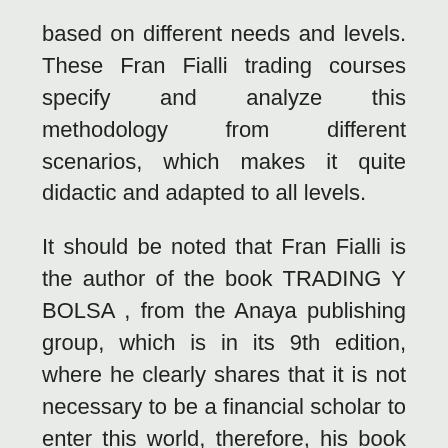based on different needs and levels. These Fran Fialli trading courses specify and analyze this methodology from different scenarios, which makes it quite didactic and adapted to all levels.
It should be noted that Fran Fialli is the author of the book TRADING Y BOLSA , from the Anaya publishing group, which is in its 9th edition, where he clearly shares that it is not necessary to be a financial scholar to enter this world, therefore, his book is aimed at all types of public. Fialli, in its manual, mentions that through training, discipline and the necessary tools, the objective can be achieved: earn a salary in the financial markets .
That is why your investment can be profitable if you learn to use information and statistics , since intuition